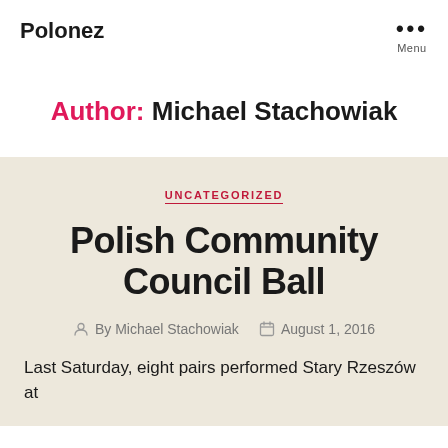Polonez
Author: Michael Stachowiak
UNCATEGORIZED
Polish Community Council Ball
By Michael Stachowiak   August 1, 2016
Last Saturday, eight pairs performed Stary Rzeszów at